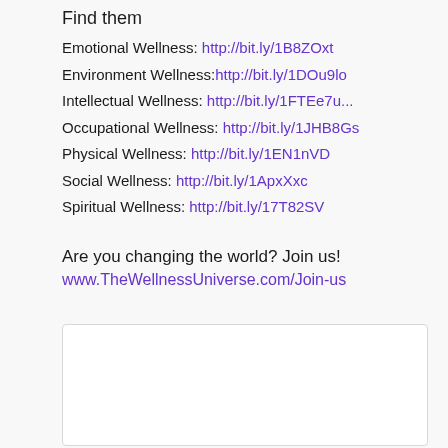Find them
Emotional Wellness: http://bit.ly/1B8ZOxt
Environment Wellness:http://bit.ly/1DOu9lo
Intellectual Wellness: http://bit.ly/1FTEe7u...
Occupational Wellness: http://bit.ly/1JHB8Gs
Physical Wellness: http://bit.ly/1EN1nVD
Social Wellness: http://bit.ly/1ApxXxc
Spiritual Wellness: http://bit.ly/17T82SV
Are you changing the world? Join us!
www.TheWellnessUniverse.com/Join-us
[Figure (other): Empty white rounded rectangle box at bottom of page]